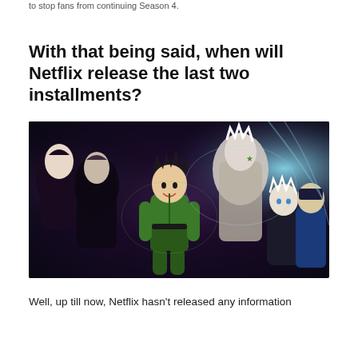to stop fans from continuing Season 4.
With that being said, when will Netflix release the last two installments?
[Figure (photo): Hunter x Hunter anime promotional image showing multiple characters including Gon in a green outfit running in the center, with other characters like Killua and various antagonists surrounding him against a dark purple and blue background.]
Well, up till now, Netflix hasn't released any information